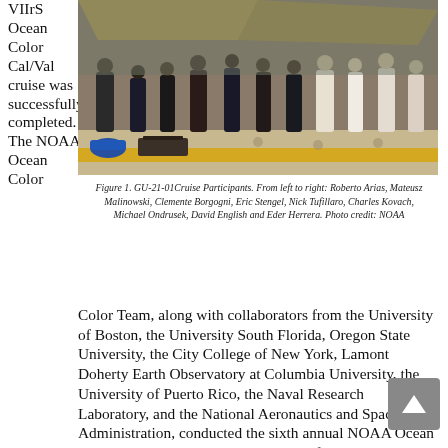VIIrS Ocean Color Cal/Val cruise was successfully completed. The NOAA Ocean Color Team, along with collaborators from the University of Boston, the University South Florida, Oregon State University, the City College of New York, Lamont Doherty Earth Observatory at Columbia University, the University of Puerto Rico, the Naval Research Laboratory, and the National Aeronautics and Space Administration, conducted the sixth annual NOAA Ocean Color Cal/Val cruise. The contingent of cruise participants was slim this year due to the pandemic-related travel restrictions (Figure 1). The crew included two NOAA Experiential Research and Training Opportunities (NERTO) interns
[Figure (photo): Group photo of GU-21-01 cruise participants standing on a ship deck with a yellow stripe, with scientific equipment visible in the foreground and a blue bucket.]
Figure 1. GU-21-01Cruise Participants. From left to right: Roberto Arias, Mateusz Malinowski, Clemente Borgogni, Eric Stengel, Nick Tufillaro, Charles Kovach, Michael Ondrusek, David English and Eder Herrera. Photo credit: NOAA